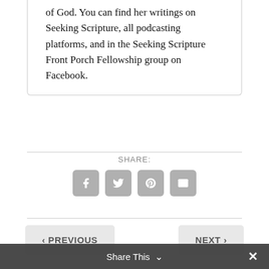of God. You can find her writings on Seeking Scripture, all podcasting platforms, and in the Seeking Scripture Front Porch Fellowship group on Facebook.
SHARE:
[Figure (infographic): Four social share icon buttons: Facebook (f), Twitter (bird), Pinterest (p), Email (envelope), rendered as rounded square grey buttons]
< PREVIOUS   NEXT >   Share This ∨   ×